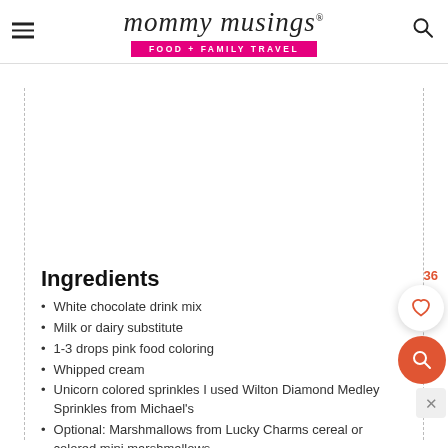mommy musings® FOOD + FAMILY TRAVEL
Ingredients
White chocolate drink mix
Milk or dairy substitute
1-3 drops pink food coloring
Whipped cream
Unicorn colored sprinkles I used Wilton Diamond Medley Sprinkles from Michael's
Optional: Marshmallows from Lucky Charms cereal or colored mini marshmallows